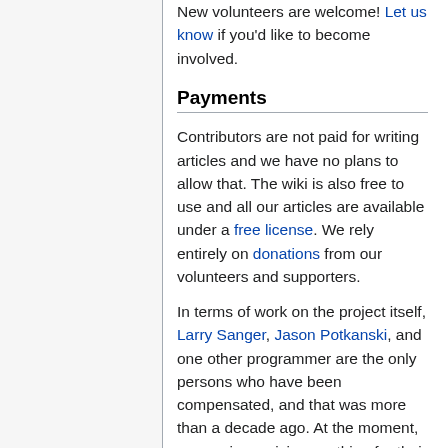New volunteers are welcome! Let us know if you'd like to become involved.
Payments
Contributors are not paid for writing articles and we have no plans to allow that. The wiki is also free to use and all our articles are available under a free license. We rely entirely on donations from our volunteers and supporters.
In terms of work on the project itself, Larry Sanger, Jason Potkanski, and one other programmer are the only persons who have been compensated, and that was more than a decade ago. At the moment, no-one is receiving anything for their work. The Citizendium was a project of the Tides Center until 2010, but is operationally independent now.